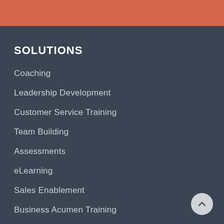SOLUTIONS
Coaching
Leadership Development
Customer Service Training
Team Building
Assessments
eLearning
Sales Enablement
Business Acumen Training